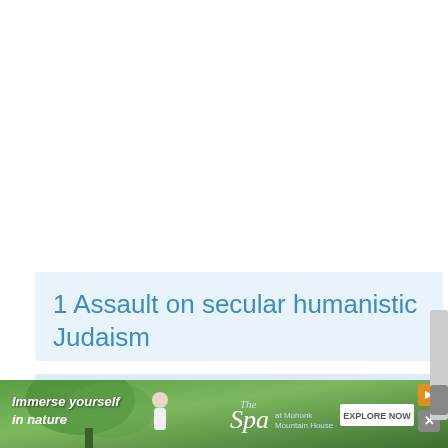1 Assault on secular humanistic Judaism
2 History of secular humanistic judaism
[Figure (photo): Advertisement banner: 'Immerse yourself in nature' with Spa at Mohonk Mountain House branding and Explore Now button]